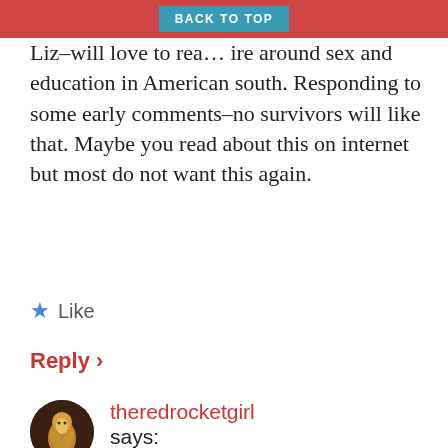Liz–will love to read more around sex and education in American south. Responding to some early comments–no survivors will like that. Maybe you read about this on internet but most do not want this again.
★ Like
Reply ›
theredrocketgirl says: April 25, 2019 at 10:09 am
Hey there, I'm glad you appreciate this! I do understand that no rape survivors would ever want to undergo such a traumatic experience again, but as I understand it, some survivors use something called 'consensual non-consent' in order to reclaim the experience